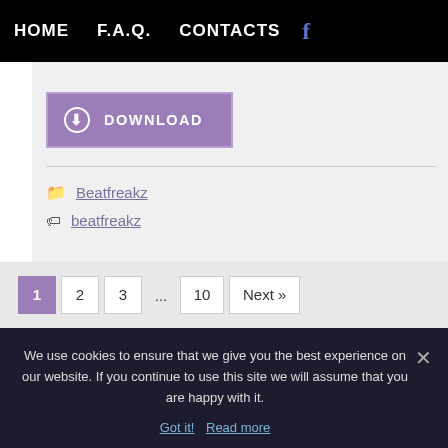HOME   F.A.Q.   CONTACTS   f
[Figure (other): Purple download button with download arrow circle icon and text DOWNLOAD]
Beatfreakz
beatfreakz
1  2  3  ...  10  Next »
We use cookies to ensure that we give you the best experience on our website. If you continue to use this site we will assume that you are happy with it.
Got it!   Read more